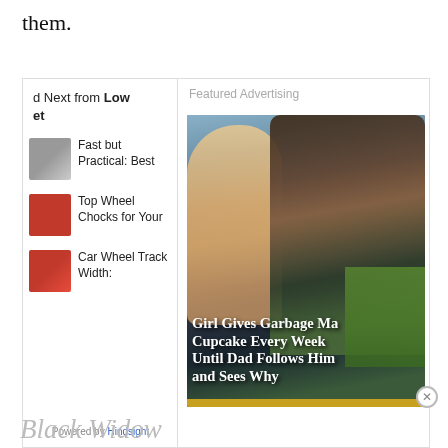them.
[Figure (screenshot): Widget box with two panels: left panel shows 'Read Next from Low Budget' articles (Fast but Practical: Best, Top Wheel Chocks for Your, Car Wheel Track Width:) with thumbnails, powered by Hindsight; right panel shows Featured Advertising with an ad image: 'Girl Gives Garbage Man a Cupcake Every Week Until Dad Follows Him and Sees Why' with a photo of a child and a smiling man.]
Black Widow